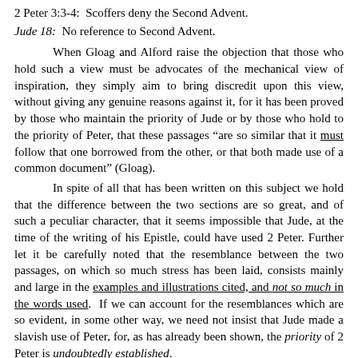2 Peter 3:3-4: Scoffers deny the Second Advent.
Jude 18: No reference to Second Advent.
When Gloag and Alford raise the objection that those who hold such a view must be advocates of the mechanical view of inspiration, they simply aim to bring discredit upon this view, without giving any genuine reasons against it, for it has been proved by those who maintain the priority of Jude or by those who hold to the priority of Peter, that these passages "are so similar that it must follow that one borrowed from the other, or that both made use of a common document" (Gloag).
In spite of all that has been written on this subject we hold that the difference between the two sections are so great, and of such a peculiar character, that it seems impossible that Jude, at the time of the writing of his Epistle, could have used 2 Peter. Further let it be carefully noted that the resemblance between the two passages, on which so much stress has been laid, consists mainly and large in the examples and illustrations cited, and not so much in the words used. If we can account for the resemblances which are so evident, in some other way, we need not insist that Jude made a slavish use of Peter, for, as has already been shown, the priority of 2 Peter is undoubtedly established.
Neither writer copies from the other, nor is it at all likely that Jude had ever seen the Epistle of Peter, but as the errors against which they both wrote were of the same general character, differing only as the bud differs from the flower, or the blossom